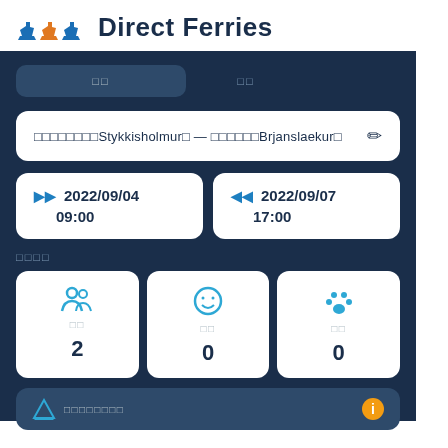Direct Ferries
□□ (outbound tab)
□□ (return tab)
□□□□□□□□Stykkisholmur□ — □□□□□□Brjanslaekur□
▶▶ 2022/09/04 09:00
◀◀ 2022/09/07 17:00
□□□□ (passengers label)
□□ 2
□□ 0
□□ 0
□□□□□□□□ (bottom bar text)